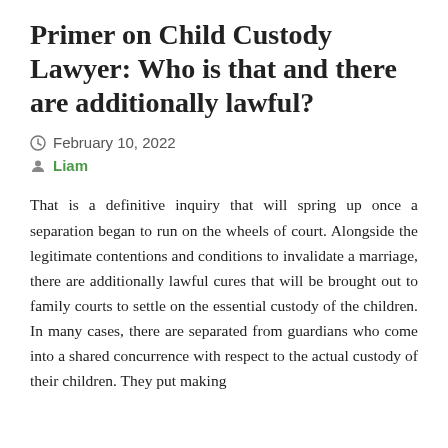Primer on Child Custody Lawyer: Who is that and there are additionally lawful?
February 10, 2022
Liam
That is a definitive inquiry that will spring up once a separation began to run on the wheels of court. Alongside the legitimate contentions and conditions to invalidate a marriage, there are additionally lawful cures that will be brought out to family courts to settle on the essential custody of the children. In many cases, there are separated from guardians who come into a shared concurrence with respect to the actual custody of their children. They put making